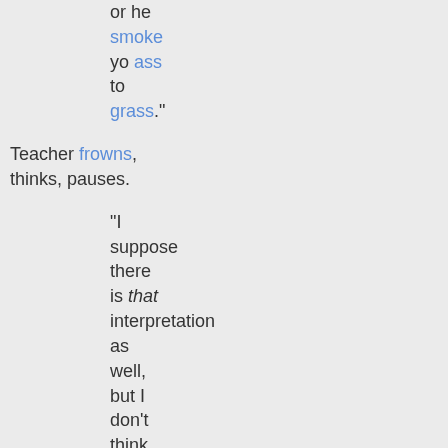or he smoke yo ass to grass."
Teacher frowns, thinks, pauses.
"I suppose there is that interpretation as well, but I don't think so. Anybody else want to try?"
And with those harsh, cruel words reality comes tumbling down, self-confidence shatters and angst mode initiates. There is no